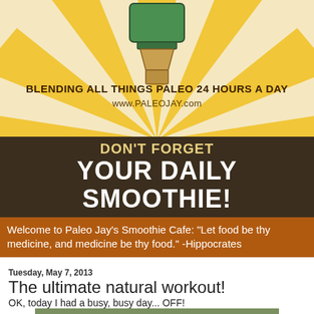[Figure (illustration): Paleo Jay's Smoothie Cafe banner with sunburst rays in yellow/orange, a green blender illustration, text 'BLENDING ALL THINGS PALEO 24 HOURS A DAY', 'www.PALEOJAY.com', dark brown bar with 'DON'T FORGET YOUR DAILY SMOOTHIE!']
Welcome to Paleo Jay's Smoothie Cafe: "Let food be thy medicine, and medicine be thy food." -Hippocrates
Tuesday, May 7, 2013
The ultimate natural workout!
OK, today I had a busy, busy day... OFF!
[Figure (photo): Outdoor nature/workout photo partially visible at bottom]